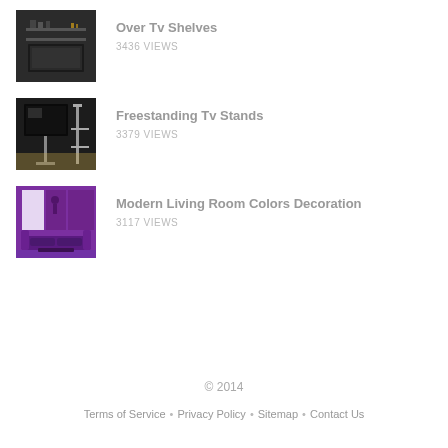Over Tv Shelves
3436 VIEWS
Freestanding Tv Stands
3379 VIEWS
Modern Living Room Colors Decoration
3117 VIEWS
© 2014
Terms of Service • Privacy Policy • Sitemap • Contact Us